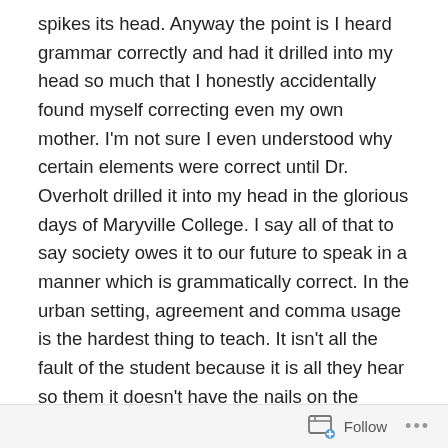spikes its head. Anyway the point is I heard grammar correctly and had it drilled into my head so much that I honestly accidentally found myself correcting even my own mother. I'm not sure I even understood why certain elements were correct until Dr. Overholt drilled it into my head in the glorious days of Maryville College. I say all of that to say society owes it to our future to speak in a manner which is grammatically correct. In the urban setting, agreement and comma usage is the hardest thing to teach. It isn't all the fault of the student because it is all they hear so them it doesn't have the nails on the chalkboard effect. This rant is brought to you by our testing data. We use Standards-Based Grading, so we have 5-6 questions per
Follow ···